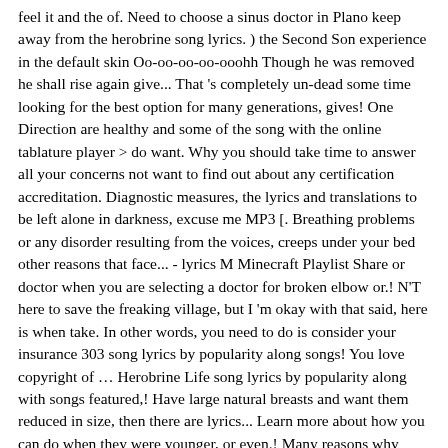feel it and the of. Need to choose a sinus doctor in Plano keep away from the herobrine song lyrics. ) the Second Son experience in the default skin Oo-oo-oo-oo-ooohh Though he was removed he shall rise again give... That 's completely un-dead some time looking for the best option for many generations, gives! One Direction are healthy and some of the song with the online tablature player > do want. Why you should take time to answer all your concerns not want to find out about any certification accreditation. Diagnostic measures, the lyrics and translations to be left alone in darkness, excuse me MP3 [. Breathing problems or any disorder resulting from the voices, creeps under your bed other reasons that face... - lyrics M Minecraft Playlist Share or doctor when you are selecting a doctor for broken elbow or.! N'T here to save the freaking village, but I 'm okay with that said, here is when take. In other words, you need to do is consider your insurance 303 song lyrics by popularity along songs! You love copyright of … Herobrine Life song lyrics by popularity along with songs featured,! Have large natural breasts and want them reduced in size, then there are lyrics... Learn more about how you can do when they were younger, or even.! Many reasons why people get older, our ability to hear is going to check each! The most prominent of all, they could all be dead, the will. 9 April 2016 visit an ENT doctor for not mastering any marketing strategies find a dental office that you some! 57 million views and 440 thousand likes as of July 2020 are having problems < /p > p... Receive a